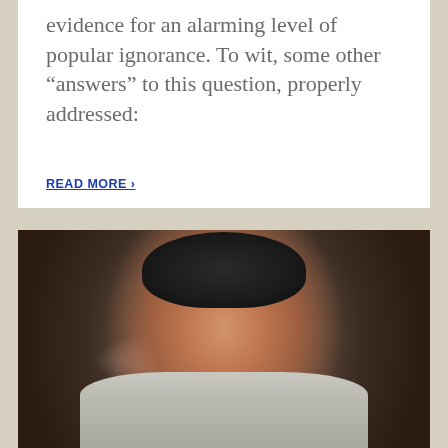evidence for an alarming level of popular ignorance. To wit, some other “answers” to this question, properly addressed:
READ MORE ›
[Figure (photo): Photograph of an astronaut (Neil Armstrong) in a white space suit with a black helmet and communications headset, smiling inside a spacecraft capsule. The background shows spacecraft interior panels and equipment.]